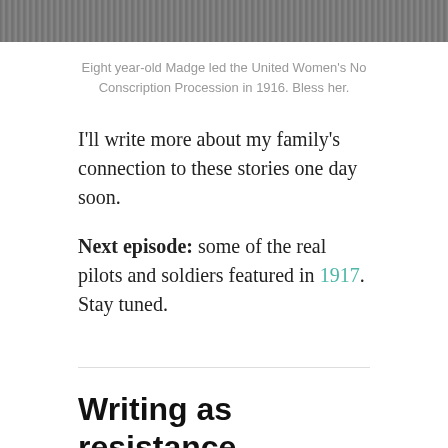[Figure (photo): Partial photo strip at top of page, appears to be a historical black and white photograph]
Eight year-old Madge led the United Women's No Conscription Procession in 1916. Bless her.
I'll write more about my family's connection to these stories one day soon.
Next episode: some of the real pilots and soldiers featured in 1917. Stay tuned.
Writing as resistance
MARCH 8, 2017 / 3 COMMENTS